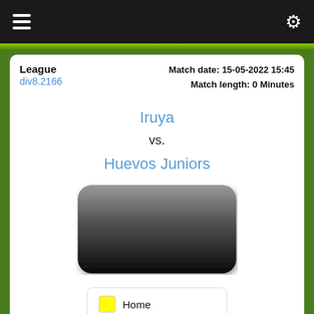☰  ⚙
League
div8.2166
Match date: 15-05-2022 15:45
Match length: 0 Minutes
Iruya
vs.
Huevos Juniors
[Figure (other): Dark rounded rectangle scoreboard display, gradient from grey to black]
Home
Away